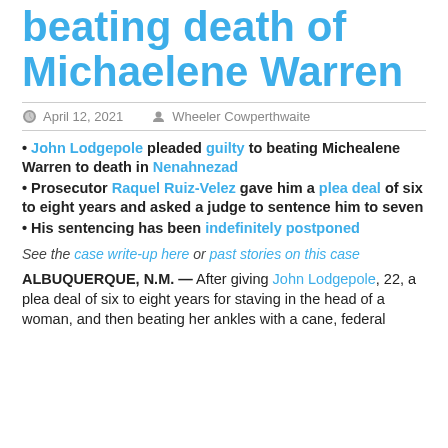beating death of Michaelene Warren
April 12, 2021   Wheeler Cowperthwaite
John Lodgepole pleaded guilty to beating Michealene Warren to death in Nenahnezad
Prosecutor Raquel Ruiz-Velez gave him a plea deal of six to eight years and asked a judge to sentence him to seven
His sentencing has been indefinitely postponed
See the case write-up here or past stories on this case
ALBUQUERQUE, N.M. — After giving John Lodgepole, 22, a plea deal of six to eight years for staving in the head of a woman, and then beating her ankles with a cane, federal